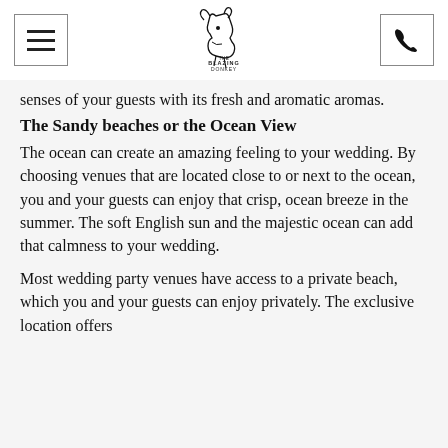[Figure (logo): The Blazing Donkey logo — line drawing of a donkey head with text 'THE BLAZING DONKEY' below]
senses of your guests with its fresh and aromatic aromas.
The Sandy beaches or the Ocean View
The ocean can create an amazing feeling to your wedding. By choosing venues that are located close to or next to the ocean, you and your guests can enjoy that crisp, ocean breeze in the summer. The soft English sun and the majestic ocean can add that calmness to your wedding.
Most wedding party venues have access to a private beach, which you and your guests can enjoy privately. The exclusive location offers